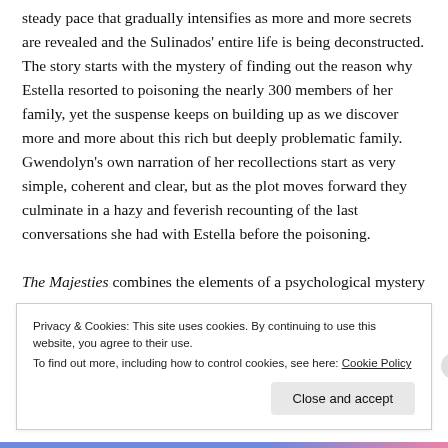steady pace that gradually intensifies as more and more secrets are revealed and the Sulinados' entire life is being deconstructed. The story starts with the mystery of finding out the reason why Estella resorted to poisoning the nearly 300 members of her family, yet the suspense keeps on building up as we discover more and more about this rich but deeply problematic family. Gwendolyn's own narration of her recollections start as very simple, coherent and clear, but as the plot moves forward they culminate in a hazy and feverish recounting of the last conversations she had with Estella before the poisoning.
The Majesties combines the elements of a psychological mystery
Privacy & Cookies: This site uses cookies. By continuing to use this website, you agree to their use.
To find out more, including how to control cookies, see here: Cookie Policy
Close and accept